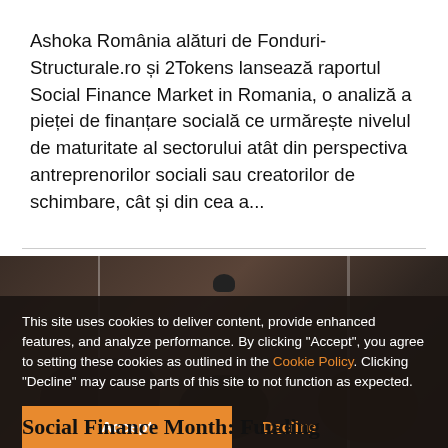Ashoka România alături de Fonduri-Structurale.ro și 2Tokens lansează raportul Social Finance Market in Romania, o analiză a pieței de finanțare socială ce urmărește nivelul de maturitate al sectorului atât din perspectiva antreprenorilor sociali sau creatorilor de schimbare, cât și din cea a...
[Figure (photo): Partially visible background photo with dark tones, vertical dividing lines, and dark silhouetted shapes at bottom. Cookie consent banner overlay covers lower portion.]
This site uses cookies to deliver content, provide enhanced features, and analyze performance. By clicking "Accept", you agree to setting these cookies as outlined in the Cookie Policy. Clicking "Decline" may cause parts of this site to not function as expected.
Social Finance Month: Funding